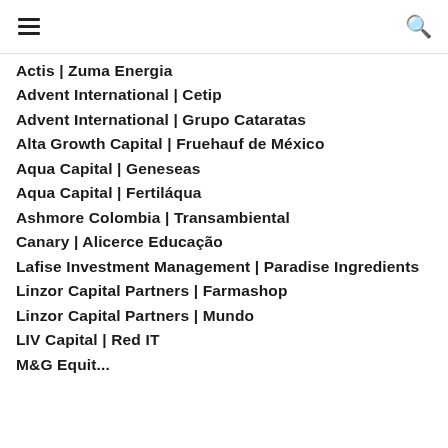[navigation bar with menu and search icons]
Actis | Zuma Energia
Advent International | Cetip
Advent International | Grupo Cataratas
Alta Growth Capital | Fruehauf de México
Aqua Capital | Geneseas
Aqua Capital | Fertiláqua
Ashmore Colombia | Transambiental
Canary | Alicerce Educação
Lafise Investment Management | Paradise Ingredients
Linzor Capital Partners | Farmashop
Linzor Capital Partners | Mundo
LIV Capital | Red IT
M&G Equity | Cervecería...